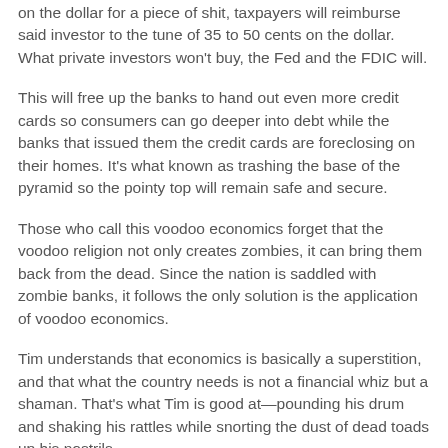on the dollar for a piece of shit, taxpayers will reimburse said investor to the tune of 35 to 50 cents on the dollar. What private investors won't buy, the Fed and the FDIC will.
This will free up the banks to hand out even more credit cards so consumers can go deeper into debt while the banks that issued them the credit cards are foreclosing on their homes. It's what known as trashing the base of the pyramid so the pointy top will remain safe and secure.
Those who call this voodoo economics forget that the voodoo religion not only creates zombies, it can bring them back from the dead. Since the nation is saddled with zombie banks, it follows the only solution is the application of voodoo economics.
Tim understands that economics is basically a superstition, and that what the country needs is not a financial whiz but a shaman. That's what Tim is good at—pounding his drum and shaking his rattles while snorting the dust of dead toads up his nostrils.